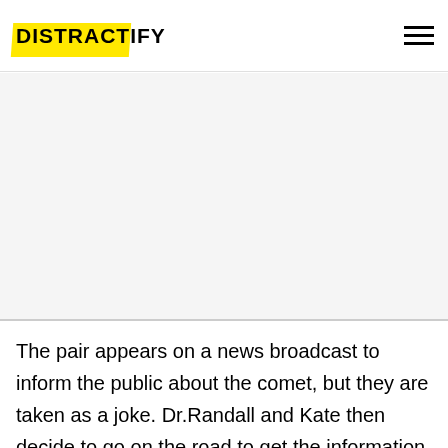DISTRACTIFY
[Figure (other): Gray advertisement placeholder area]
The pair appears on a news broadcast to inform the public about the comet, but they are taken as a joke. Dr.Randall and Kate then decide to go on the road to get the information out there. From setting up news conferences to